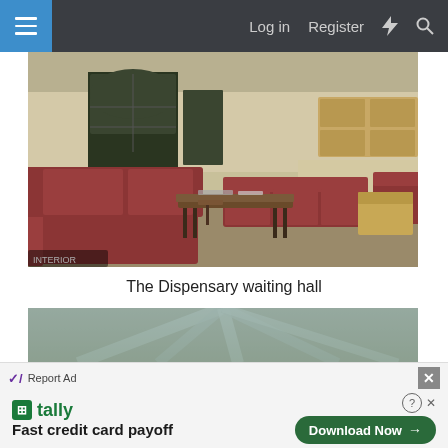Log in  Register
[Figure (photo): Interior of a dispensary waiting hall with red/burgundy upholstered benches arranged in rows, wooden coffee tables, large arched windows, beige walls, and patterned carpet flooring.]
The Dispensary waiting hall
[Figure (photo): Partial view of a second interior photo showing what appears to be a glass ceiling or skylight structure.]
Report Ad
tally  Fast credit card payoff
Download Now →